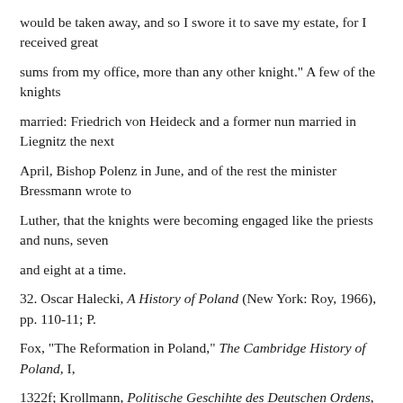would be taken away, and so I swore it to save my estate, for I received great
sums from my office, more than any other knight." A few of the knights
married: Friedrich von Heideck and a former nun married in Liegnitz the next
April, Bishop Polenz in June, and of the rest the minister Bressmann wrote to
Luther, that the knights were becoming engaged like the priests and nuns, seven
and eight at a time.
32. Oscar Halecki, A History of Poland (New York: Roy, 1966), pp. 110-11; P.
Fox, "The Reformation in Poland," The Cambridge History of Poland, I,
1322f; Krollmann, Politische Geschihte des Deutschen Ordens, pp. 199-205.